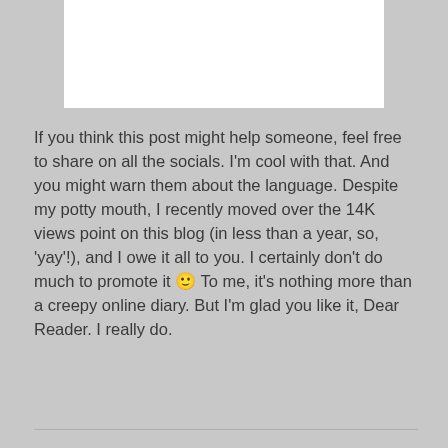[Figure (other): White rectangular box at top center of page, partially visible, on grey background]
If you think this post might help someone, feel free to share on all the socials. I'm cool with that. And you might warn them about the language. Despite my potty mouth, I recently moved over the 14K views point on this blog (in less than a year, so, 'yay'!), and I owe it all to you. I certainly don't do much to promote it 🙂 To me, it's nothing more than a creepy online diary. But I'm glad you like it, Dear Reader. I really do.